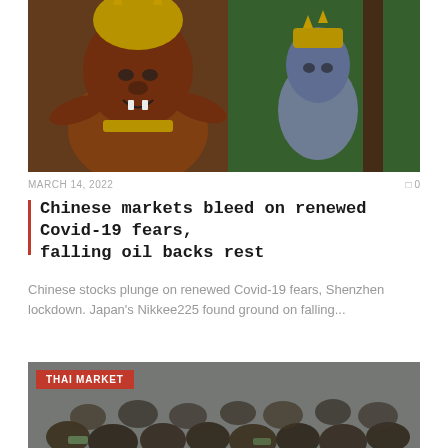[Figure (photo): Balinese Hindu temple statue decoration with ornate golden and colorful carved figures]
MARCH 14, 2022
0
Chinese markets bleed on renewed Covid-19 fears, falling oil backs rest
Chinese stocks plunge on renewed Covid-19 fears, Shenzhen lockdown. Japan's Nikkee225 found ground on falling...
[Figure (photo): Crowd of people in a market, with THAI MARKET label overlay]